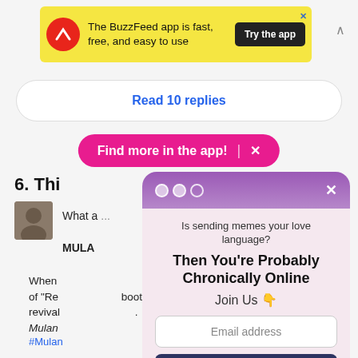[Figure (screenshot): BuzzFeed app advertisement banner with yellow background, red circular logo with upward arrow, text 'The BuzzFeed app is fast, free, and easy to use', and dark 'Try the app' button]
Read 10 replies
Find more in the app!  ×
6. Thi
[Figure (screenshot): Modal popup with gradient purple header, three circle dots, X close button, text 'Is sending memes your love language? Then You're Probably Chronically Online Join Us 👇', email input field, Sign Me Up button, and No Thanks link]
What a ... MULA
When of 'Re boots, revival . Mulan
#Mular